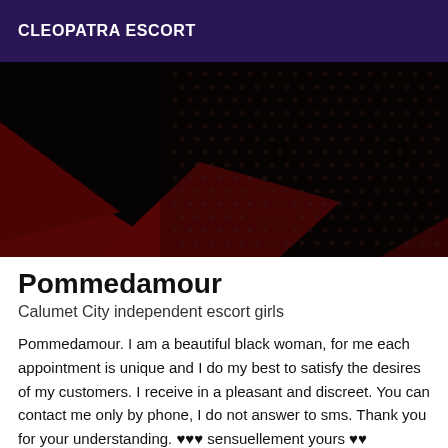CLEOPATRA ESCORT
[Figure (photo): Close-up photo of black lace/mesh fabric with red fabric visible underneath, dark and moody aesthetic]
Pommedamour
Calumet City independent escort girls
Pommedamour. I am a beautiful black woman, for me each appointment is unique and I do my best to satisfy the desires of my customers. I receive in a pleasant and discreet. You can contact me only by phone, I do not answer to sms. Thank you for your understanding. ♥♥♥ sensuellement yours ♥♥